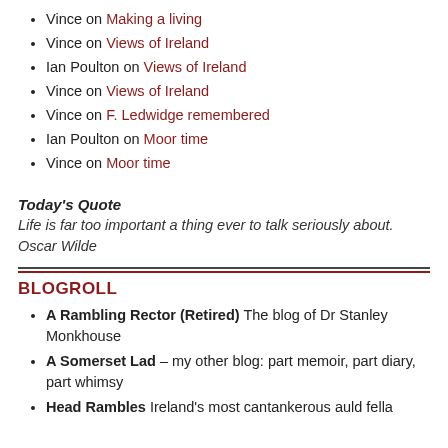Vince on Making a living
Vince on Views of Ireland
Ian Poulton on Views of Ireland
Vince on Views of Ireland
Vince on F. Ledwidge remembered
Ian Poulton on Moor time
Vince on Moor time
Today's Quote
Life is far too important a thing ever to talk seriously about.
Oscar Wilde
BLOGROLL
A Rambling Rector (Retired) The blog of Dr Stanley Monkhouse
A Somerset Lad – my other blog: part memoir, part diary, part whimsy
Head Rambles Ireland's most cantankerous auld fella